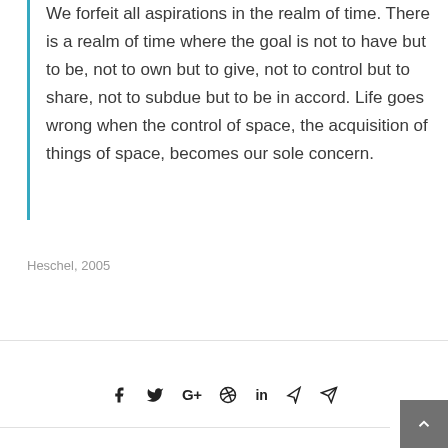We forfeit all aspirations in the realm of time. There is a realm of time where the goal is not to have but to be, not to own but to give, not to control but to share, not to subdue but to be in accord. Life goes wrong when the control of space, the acquisition of things of space, becomes our sole concern.
Heschel, 2005
[Figure (other): Social media sharing icons: Facebook, Twitter, Google+, Pinterest, LinkedIn, Xing, Email/Send]